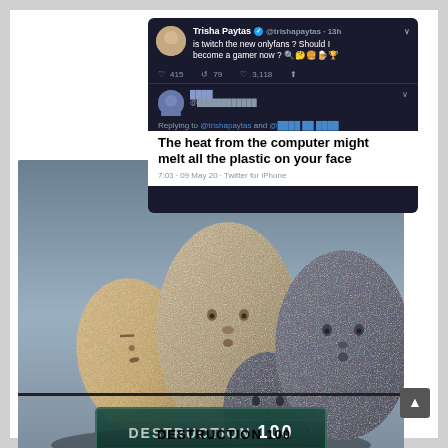[Figure (screenshot): Screenshot of a Twitter/X thread. Top tweet by Trisha Paytas (@trishapaytas) 13h ago: 'is twitch the new onlyfans ? Should I become a gamer now ? [emojis]' with 415 likes, 79 retweets, 3,118 likes. Reply from a blurred user replying to @trishapaytas and another account: 'The heat from the computer might melt all the plastic on your face'. Posted 7:03 · 09 May 20 · Twitter for iPhone.]
[Figure (photo): Photo of four stone/rock sculptures with simplified human faces (oval egg-shaped stones with carved minimalist faces), overlaid with a 'DESTRUCTION 100' Skyrim-style skill banner at the bottom.]
DESTRUCTION 100